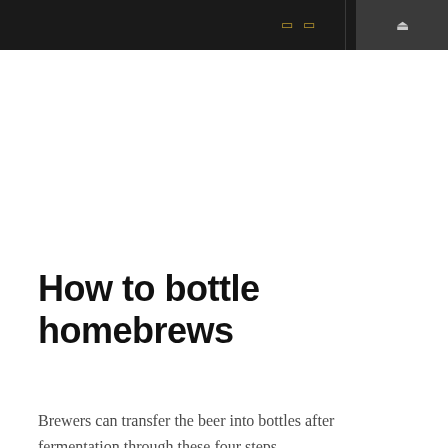navigation bar with icons and search
How to bottle homebrews
Brewers can transfer the beer into bottles after fermentation through these four steps.